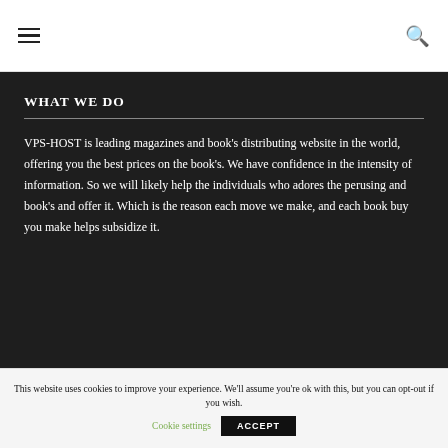≡  🔍
WHAT WE DO
VPS-HOST is leading magazines and book's distributing website in the world, offering you the best prices on the book's. We have confidence in the intensity of information. So we will likely help the individuals who adores the perusing and book's and offer it. Which is the reason each move we make, and each book buy you make helps subsidize it.
This website uses cookies to improve your experience. We'll assume you're ok with this, but you can opt-out if you wish.
Cookie settings   ACCEPT